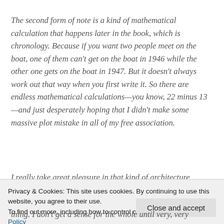The second form of note is a kind of mathematical calculation that happens later in the book, which is chronology. Because if you want two people meet on the boat, one of them can't get on the boat in 1946 while the other one gets on the boat in 1947. But it doesn't always work out that way when you first write it. So there are endless mathematical calculations—you know, 22 minus 13—and just desperately hoping that I didn't make some massive plot mistake in all of my free association.
I really take great pleasure in that kind of architecture
Privacy & Cookies: This site uses cookies. By continuing to use this website, you agree to their use. To find out more, including how to control cookies, see here: Cookie Policy
thing. I don't get a sense for the whole until very, very